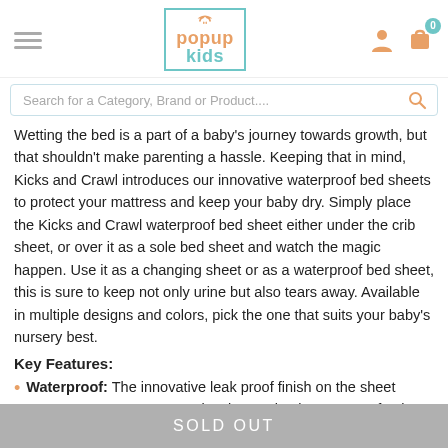popup kids
Search for a Category, Brand or Product....
Wetting the bed is a part of a baby's journey towards growth, but that shouldn't make parenting a hassle. Keeping that in mind, Kicks and Crawl introduces our innovative waterproof bed sheets to protect your mattress and keep your baby dry. Simply place the Kicks and Crawl waterproof bed sheet either under the crib sheet, or over it as a sole bed sheet and watch the magic happen. Use it as a changing sheet or as a waterproof bed sheet, this is sure to keep not only urine but also tears away. Available in multiple designs and colors, pick the one that suits your baby's nursery best.
Key Features:
Waterproof: The innovative leak proof finish on the sheet makes it completely waterproof to keep your baby and their bed dry.
SOLD OUT